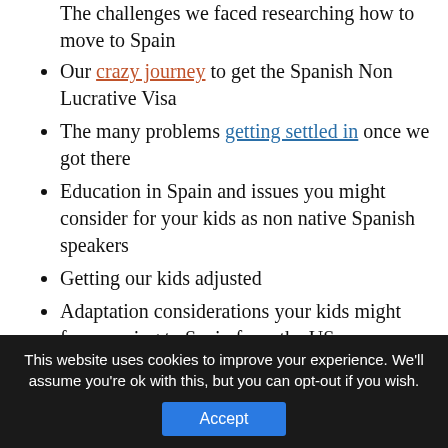The challenges we faced researching how to move to Spain
Our crazy journey to get the Spanish Non Lucrative Visa
The many problems getting settled in once we got there
Education in Spain and issues you might consider for your kids as non native Spanish speakers
Getting our kids adjusted
Adaptation considerations your kids might face moving to Spain from the US
Additional psychological and logistical
This website uses cookies to improve your experience. We'll assume you're ok with this, but you can opt-out if you wish.